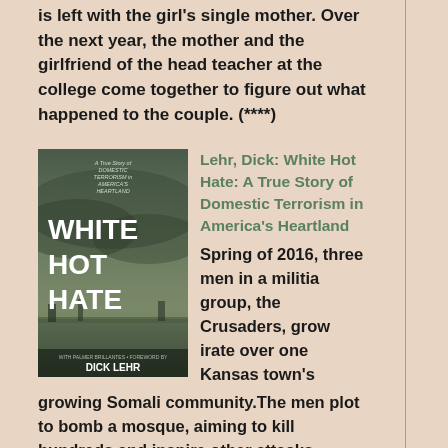is left with the girl's single mother. Over the next year, the mother and the girlfriend of the head teacher at the college come together to figure out what happened to the couple. (****)
[Figure (illustration): Book cover of 'White Hot Hate: A True Story of Domestic Terrorism in America's Heartland' by Dick Lehr. Dark, moody cover with large white text reading WHITE HOT HATE on a stormy landscape background.]
Lehr, Dick: White Hot Hate: A True Story of Domestic Terrorism in America's Heartland
Spring of 2016, three men in a militia group, the Crusaders, grow irate over one Kansas town's growing Somali community. The men plot to bomb a mosque, aiming to kill hundreds and inspire other attacks against Muslims in America. But they would wait until after the presidential election, so that their actions wouldn't hurt Donald Trump's chances of winning. An FBI informant befriended the three men, acting as law enforcement's eyes and ears from within. When the time